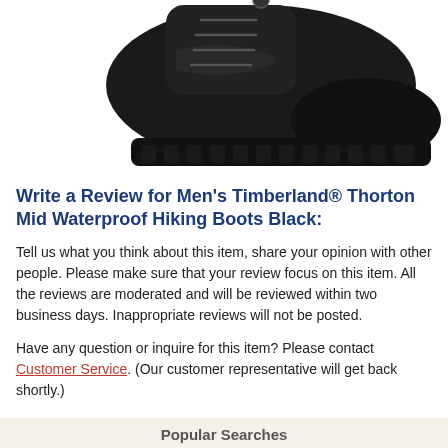[Figure (photo): Black Timberland Thorton Mid Waterproof Hiking Boot shown from a side-top angle against white background.]
Write a Review for Men's Timberland® Thorton Mid Waterproof Hiking Boots Black:
Tell us what you think about this item, share your opinion with other people. Please make sure that your review focus on this item. All the reviews are moderated and will be reviewed within two business days. Inappropriate reviews will not be posted.
Have any question or inquire for this item? Please contact Customer Service. (Our customer representative will get back shortly.)
Popular Searches